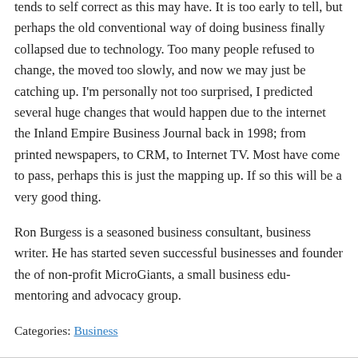tends to self correct as this may have. It is too early to tell, but perhaps the old conventional way of doing business finally collapsed due to technology. Too many people refused to change, the moved too slowly, and now we may just be catching up. I'm personally not too surprised, I predicted several huge changes that would happen due to the internet the Inland Empire Business Journal back in 1998; from printed newspapers, to CRM, to Internet TV. Most have come to pass, perhaps this is just the mapping up. If so this will be a very good thing.
Ron Burgess is a seasoned business consultant, business writer. He has started seven successful businesses and founder the of non-profit MicroGiants, a small business edu-mentoring and advocacy group.
Categories: Business